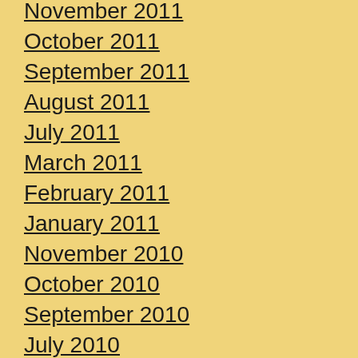November 2011
October 2011
September 2011
August 2011
July 2011
March 2011
February 2011
January 2011
November 2010
October 2010
September 2010
July 2010
June 2010
May 2010